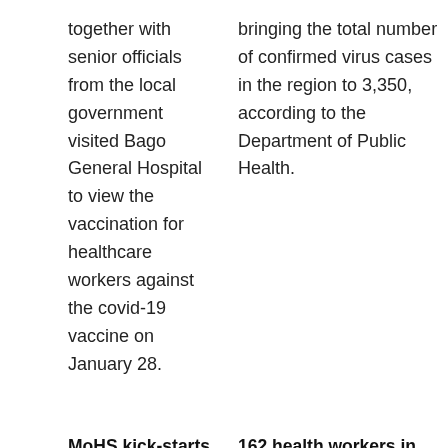together with senior officials from the local government visited Bago General Hospital to view the vaccination for healthcare workers against the covid-19 vaccine on January 28.
bringing the total number of confirmed virus cases in the region to 3,350, according to the Department of Public Health.
MoHS kick-starts vaccination drive in Bago Region
Jan 27
In an attempt curb the spread of deadly coronavirus, the Ministry of Health and Sports
162 health workers in Taninthayi Twsp receive first dose of Covishield vaccine
Jan 27
162 health workers received the first dose of covid-19 vaccine gifted